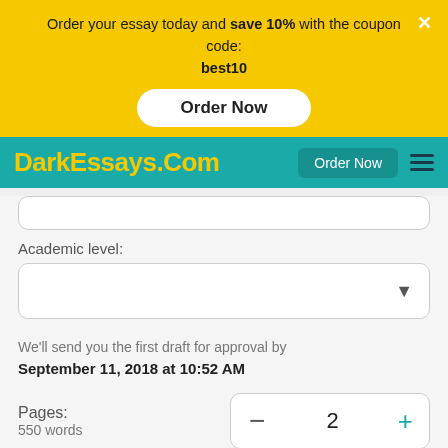Order your essay today and save 10% with the coupon code: best10
Order Now
DarkEssays.Com
Order Now
Academic level:
We'll send you the first draft for approval by September 11, 2018 at 10:52 AM
Pages:
550 words
2
Total price:  $26
Continue to order